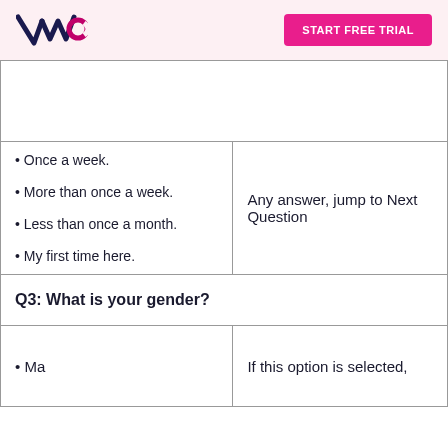VWO | START FREE TRIAL
Once a week.
More than once a week.
Less than once a month.
My first time here.
Any answer, jump to Next Question
Q3: What is your gender?
If this option is selected,